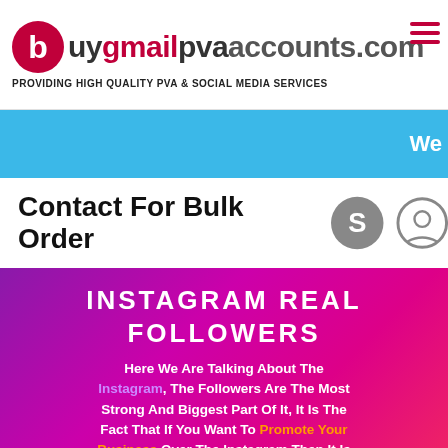[Figure (logo): buygmailpvaaccounts.com logo with red circle B and tagline]
PROVIDING HIGH QUALITY PVA & SOCIAL MEDIA SERVICES
[Figure (other): Blue banner with partial text 'We']
Contact For Bulk Order
INSTAGRAM REAL FOLLOWERS
Here We Are Talking About The Instagram, The Followers Are The Most Strong And Biggest Part Of It, It Is The Fact That If You Want To Promote Your Business Over The Instagram Then It Is Mandatory That You Should Have Real